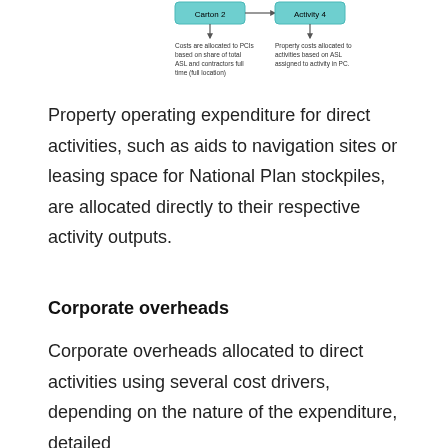[Figure (flowchart): Partial flowchart showing 'Carton 2' and 'Activity 4' boxes connected by arrows, with small caption text describing cost allocation based on ASL and contractors' full-time location, and property costs allocated to activities based on ASL assigned to activity in PC.]
Property operating expenditure for direct activities, such as aids to navigation sites or leasing space for National Plan stockpiles, are allocated directly to their respective activity outputs.
Corporate overheads
Corporate overheads allocated to direct activities using several cost drivers, depending on the nature of the expenditure, detailed